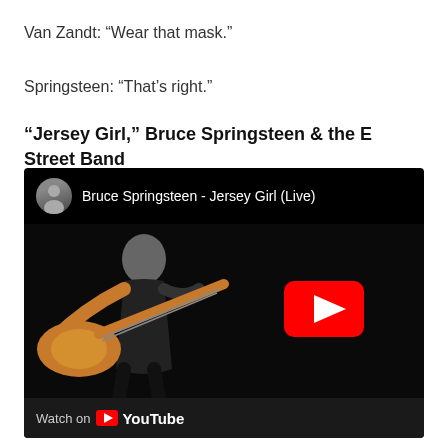Van Zandt: “Wear that mask.”
Springsteen: “That’s right.”
“Jersey Girl,” Bruce Springsteen & the E Street Band
[Figure (screenshot): YouTube video thumbnail for Bruce Springsteen - Jersey Girl (Live), showing a guitarist on stage with a YouTube play button overlay, and Watch on YouTube footer.]